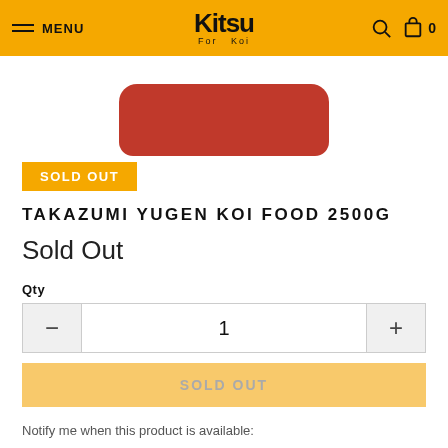MENU  Kitsu For Koi  0
[Figure (photo): Red rounded rectangular product container (Takazumi Yugen Koi Food 2500g) partially visible at top]
SOLD OUT
TAKAZUMI YUGEN KOI FOOD 2500G
Sold Out
Qty
1
SOLD OUT
Notify me when this product is available: